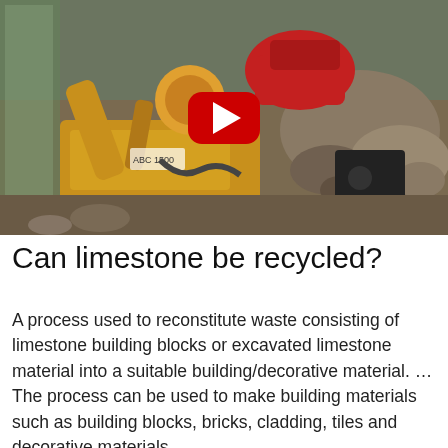[Figure (photo): Video thumbnail showing construction/mining machinery (yellow excavator/drilling equipment) with red parts amid rubble and rocks, with a YouTube play button overlay in the center.]
Can limestone be recycled?
A process used to reconstitute waste consisting of limestone building blocks or excavated limestone material into a suitable building/decorative material. … The process can be used to make building materials such as building blocks, bricks, cladding, tiles and decorative materials.